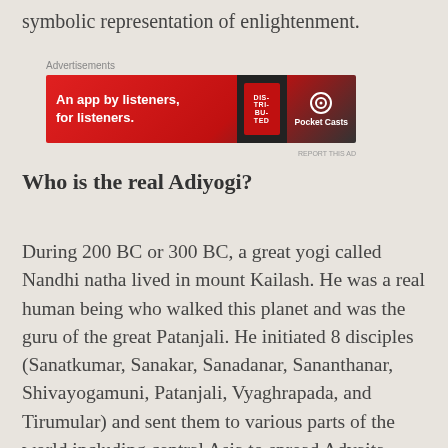symbolic representation of enlightenment.
[Figure (other): Pocket Casts advertisement banner: 'An app by listeners, for listeners.' with phone graphic and Pocket Casts logo on red background]
Who is the real Adiyogi?
During 200 BC or 300 BC, a great yogi called Nandhi natha lived in mount Kailash. He was a real human being who walked this planet and was the guru of the great Patanjali. He initiated 8 disciples (Sanatkumar, Sanakar, Sanadanar, Sananthanar, Shivayogamuni, Patanjali, Vyaghrapada, and Tirumular) and sent them to various parts of the world including central Asia to spread Advaita Shaivism. The whole Yogic